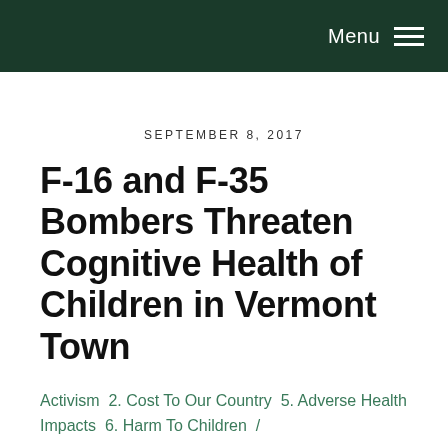Menu
SEPTEMBER 8, 2017
F-16 and F-35 Bombers Threaten Cognitive Health of Children in Vermont Town
Activism  2. Cost To Our Country  5. Adverse Health Impacts  6. Harm To Children  /